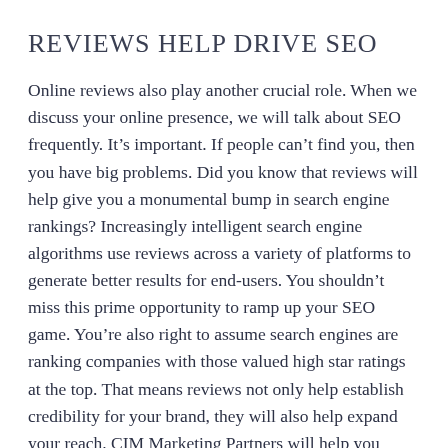REVIEWS HELP DRIVE SEO
Online reviews also play another crucial role. When we discuss your online presence, we will talk about SEO frequently. It’s important. If people can’t find you, then you have big problems. Did you know that reviews will help give you a monumental bump in search engine rankings? Increasingly intelligent search engine algorithms use reviews across a variety of platforms to generate better results for end-users. You shouldn’t miss this prime opportunity to ramp up your SEO game. You’re also right to assume search engines are ranking companies with those valued high star ratings at the top. That means reviews not only help establish credibility for your brand, they will also help expand your reach. CIM Marketing Partners will help you stretch your